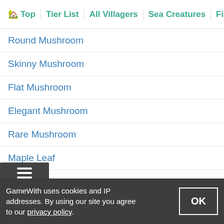Top | Tier List | All Villagers | Sea Creatures | Fish List
Round Mushroom
Skinny Mushroom
Flat Mushroom
Elegant Mushroom
Rare Mushroom
Maple Leaf
Pinecone
Snowflake
Large Snowflake
GameWith uses cookies and IP addresses. By using our site you agree to our privacy policy.